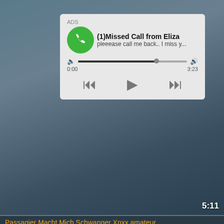[Figure (screenshot): Video player screenshot with media player overlay showing missed call notification from Eliza with audio progress bar and playback controls, timestamp 5:11]
Passagier Macht Mich Schwanger Xnxx amateur
[Figure (screenshot): Ad notification card with pink heart emoji: 'Find hot girls now - Watch profiles and start chat!']
[Figure (screenshot): Ad notification card with woman photo: 'Emma (35) sent you a sex request Ashburn - Tap and get her contact Ashburn']